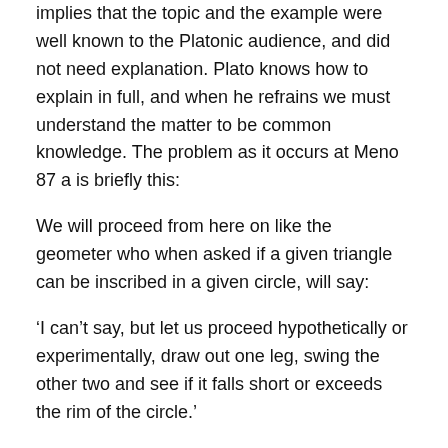implies that the topic and the example were well known to the Platonic audience, and did not need explanation. Plato knows how to explain in full, and when he refrains we must understand the matter to be common knowledge. The problem as it occurs at Meno 87 a is briefly this:
We will proceed from here on like the geometer who when asked if a given triangle can be inscribed in a given circle, will say:
‘I can’t say, but let us proceed hypothetically or experimentally, draw out one leg, swing the other two and see if it falls short or exceeds the rim of the circle.’
In making this paraphrase I have added the word “experimentally” for obvious reasons, and I have taken the noun chorion correctly as area (not rectangle or a triangle, as has been said, which means nothing) in a sense very well attested. So apparently with these conditions, the words themselves are not obscure or really